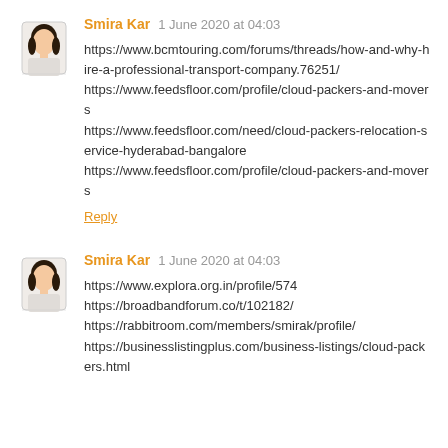Smira Kar 1 June 2020 at 04:03
https://www.bcmtouring.com/forums/threads/how-and-why-hire-a-professional-transport-company.76251/
https://www.feedsfloor.com/profile/cloud-packers-and-movers
https://www.feedsfloor.com/need/cloud-packers-relocation-service-hyderabad-bangalore
https://www.feedsfloor.com/profile/cloud-packers-and-movers
Reply
Smira Kar 1 June 2020 at 04:03
https://www.explora.org.in/profile/574
https://broadbandforum.co/t/102182/
https://rabbitroom.com/members/smirak/profile/
https://businesslistingplus.com/business-listings/cloud-packers.html